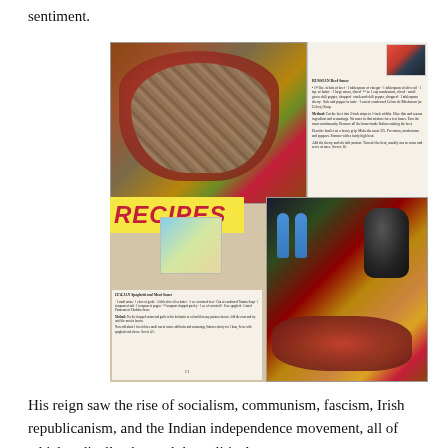sentiment.
[Figure (photo): Magazine page showing RECIPES spread with two food photographs: a Russian Beef Sauce in a red casserole dish (top), and an Italian Spaghetti and Meat Sauce preparation with coffee pot, salt and pepper shakers, and raw ground meat (bottom). A yellow banner reading RECIPES in red italic letters is visible, along with a small illustrated vignette and recipe text columns.]
His reign saw the rise of socialism, communism, fascism, Irish republicanism, and the Indian independence movement, all of which radically changed the political